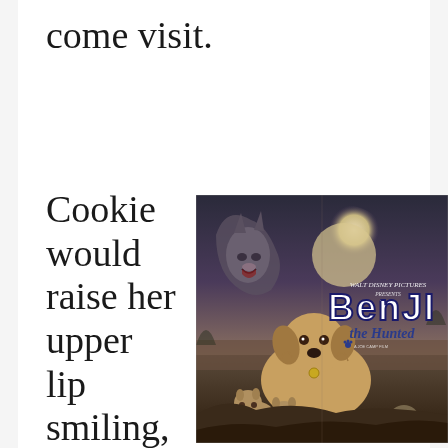come visit.
Cookie would raise her upper lip smiling, waggi
[Figure (photo): Movie poster for 'Benji the Hunted' by Walt Disney Pictures. Shows a dog (Benji) in the foreground with mountain lion cubs, a wolf in the background against a full moon, and the movie title in large stylized text.]